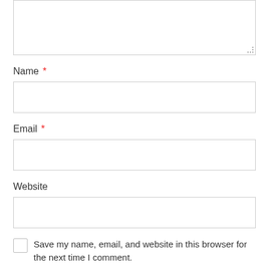[Figure (screenshot): Partial textarea/comment field at top of page, showing a text input box with resize handle at bottom right]
Name *
[Figure (screenshot): Empty text input field for Name]
Email *
[Figure (screenshot): Empty text input field for Email]
Website
[Figure (screenshot): Empty text input field for Website]
Save my name, email, and website in this browser for the next time I comment.